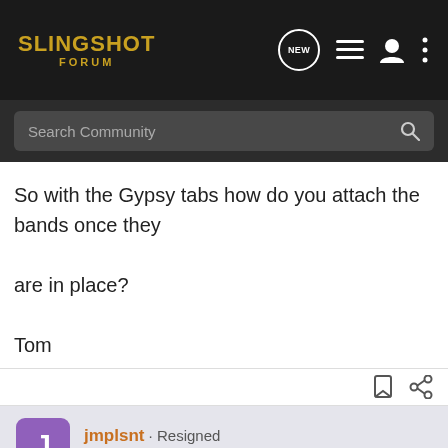SLINGSHOT FORUM
Search Community
So with the Gypsy tabs how do you attach the bands once they are in place?

Tom
jmplsnt · Resigned
Joined Jan 1, 2010 · 1,142 Posts
#7 · Nov 1, 2010
The elas... made of